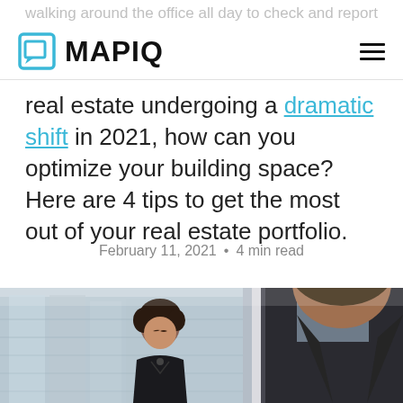walking around the office all day to check and report
MAPIQ — navigation logo and hamburger menu
real estate undergoing a dramatic shift in 2021, how can you optimize your building space? Here are 4 tips to get the most out of your real estate portfolio.
February 11, 2021 • 4 min read
[Figure (photo): Two business professionals outdoors, a woman and a man looking downward, with a modern glass building in the background.]